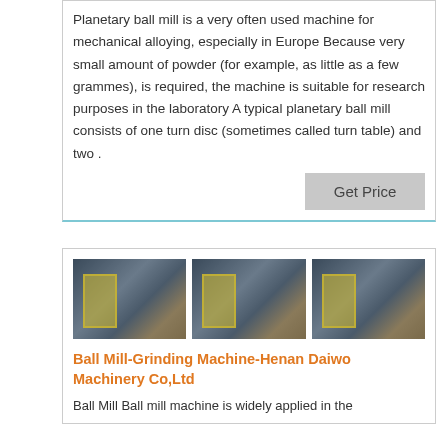Planetary ball mill is a very often used machine for mechanical alloying, especially in Europe Because very small amount of powder (for example, as little as a few grammes), is required, the machine is suitable for research purposes in the laboratory A typical planetary ball mill consists of one turn disc (sometimes called turn table) and two .
Get Price
[Figure (photo): Three side-by-side industrial machinery photos showing ball mill / grinding machine equipment in a factory setting with yellow safety railings and large industrial cylinders]
Ball Mill-Grinding Machine-Henan Daiwo Machinery Co,Ltd
Ball Mill Ball mill machine is widely applied in the